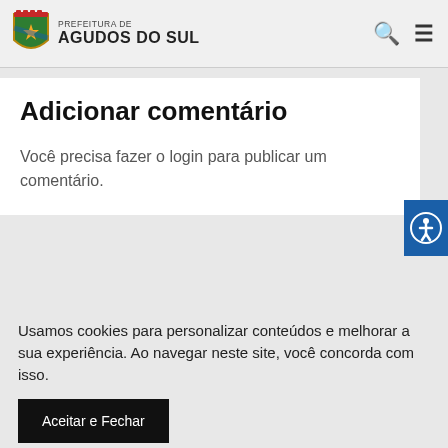PREFEITURA DE AGUDOS DO SUL
Adicionar comentário
Você precisa fazer o login para publicar um comentário.
Usamos cookies para personalizar conteúdos e melhorar a sua experiência. Ao navegar neste site, você concorda com isso.
Aceitar e Fechar